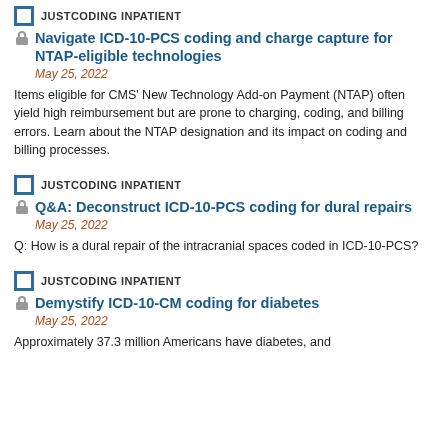JUSTCODING INPATIENT
Navigate ICD-10-PCS coding and charge capture for NTAP-eligible technologies
May 25, 2022
Items eligible for CMS' New Technology Add-on Payment (NTAP) often yield high reimbursement but are prone to charging, coding, and billing errors. Learn about the NTAP designation and its impact on coding and billing processes.
JUSTCODING INPATIENT
Q&A: Deconstruct ICD-10-PCS coding for dural repairs
May 25, 2022
Q: How is a dural repair of the intracranial spaces coded in ICD-10-PCS?
JUSTCODING INPATIENT
Demystify ICD-10-CM coding for diabetes
May 25, 2022
Approximately 37.3 million Americans have diabetes, and nearly 20% of them do not know they have it, according to the